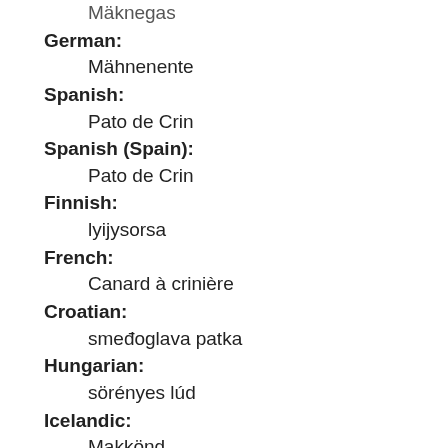Mäknegas
German: Mähnenente
Spanish: Pato de Crin
Spanish (Spain): Pato de Crin
Finnish: lyijysorsa
French: Canard à crinière
Croatian: smeđoglava patka
Hungarian: sörényes lúd
Icelandic: Makkönd
Italian: Anatra crinita